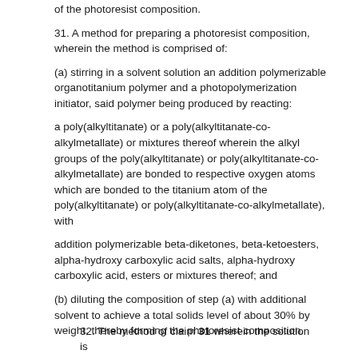of the photoresist composition.
31. A method for preparing a photoresist composition, wherein the method is comprised of:
(a) stirring in a solvent solution an addition polymerizable organotitanium polymer and a photopolymerization initiator, said polymer being produced by reacting:
a poly(alkyltitanate) or a poly(alkyltitanate-co-alkylmetallate) or mixtures thereof wherein the alkyl groups of the poly(alkyltitanate) or poly(alkyltitanate-co-alkylmetallate) are bonded to respective oxygen atoms which are bonded to the titanium atom of the poly(alkyltitanate) or poly(alkyltitanate-co-alkylmetallate), with
addition polymerizable beta-diketones, beta-ketoesters, alpha-hydroxy carboxylic acid salts, alpha-hydroxy carboxylic acid, esters or mixtures thereof; and
(b) diluting the composition of step (a) with additional solvent to achieve a total solids level of about 30% by weight, thereby forming the photoresist composition.
32. The method of claim 31 wherein the solution is